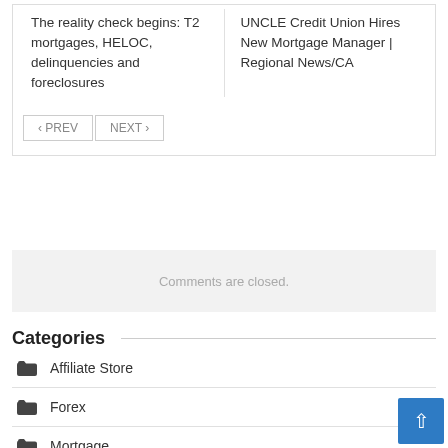The reality check begins: T2 mortgages, HELOC, delinquencies and foreclosures
UNCLE Credit Union Hires New Mortgage Manager | Regional News/CA
< PREV    NEXT >
Comments are closed.
Categories
Affiliate Store
Forex
Mortgage
Stock Trading